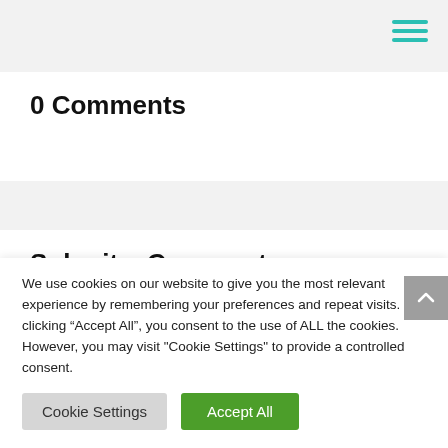[Figure (other): Hamburger menu icon with three teal/green horizontal lines in top-right corner]
0 Comments
Submit a Comment
We use cookies on our website to give you the most relevant experience by remembering your preferences and repeat visits. By clicking “Accept All”, you consent to the use of ALL the cookies. However, you may visit “Cookie Settings” to provide a controlled consent.
Cookie Settings
Accept All